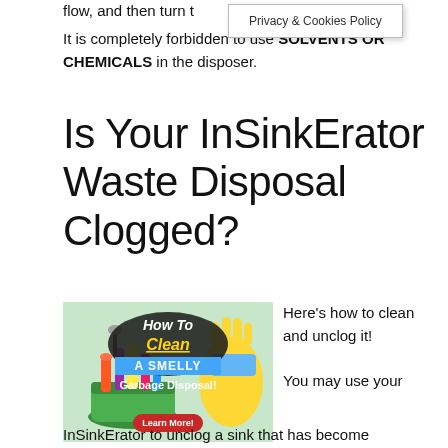flow, and then turn t
Privacy & Cookies Policy
It is completely forbidden to use SOLVENTS OR CHEMICALS in the disposer.
Is Your InSinkErator Waste Disposal Clogged?
[Figure (photo): Promotional image showing cleaning supplies in a green bucket with yellow rubber glove. Text overlay reads 'How To Clean A SMELLY Garbage Disposal! Learn More!']
Here's how to clean and unclog it!

You may use your
InSinkErator to unclog a sink that has become